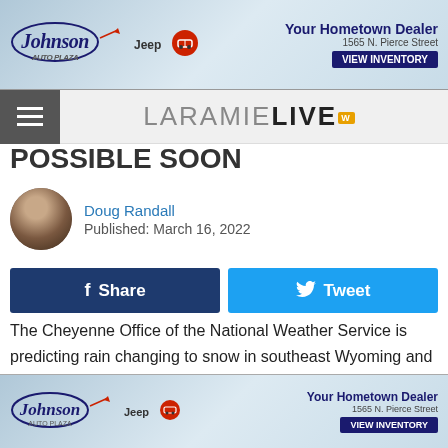[Figure (other): Johnson auto dealership advertisement banner for Jeep and RAM. Text: 'Johnson', 'Jeep', 'Your Hometown Dealer', '1565 N. Pierce Street', 'VIEW INVENTORY']
LaramieLive
POSSIBLE SOON
Doug Randall
Published: March 16, 2022
Share   Tweet
The Cheyenne Office of the National Weather Service is predicting rain changing to snow in southeast Wyoming and the Nebraska Panhandle today and tonight.
The agency says that while snow accumulations in most areas will probably be low, there is a chance of higher
[Figure (other): Johnson auto dealership advertisement banner for Jeep and RAM. Text: 'Johnson', 'Jeep', 'Your Hometown Dealer', '1565 N. Pierce Street', 'VIEW INVENTORY']